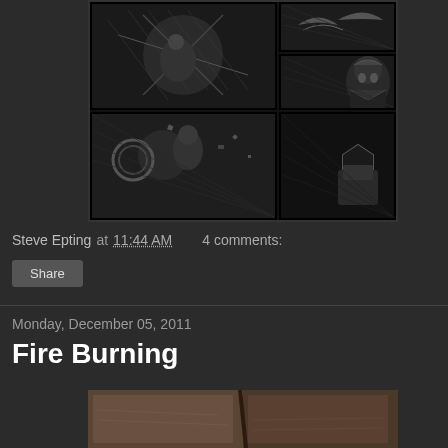[Figure (illustration): Black and white comic book art panels showing action scenes with a superhero character, displayed in a 2x2 grid panel layout on dark background]
Steve Epting at 11:44 AM   4 comments:
Share
Monday, December 05, 2011
Fire Burning
[Figure (photo): Partial view of a sepia-toned or brown-tinted photograph visible at the bottom of the page]